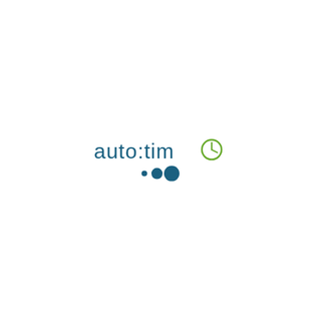[Figure (logo): auto:time logo with stylized clock icon replacing the letter 'e', and three dots below in varying sizes]